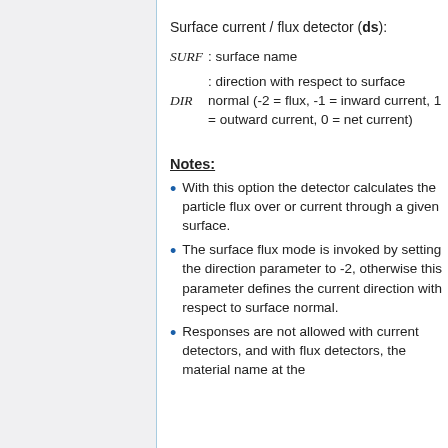Surface current / flux detector (ds):
SURF : surface name
DIR : direction with respect to surface normal (-2 = flux, -1 = inward current, 1 = outward current, 0 = net current)
Notes:
With this option the detector calculates the particle flux over or current through a given surface.
The surface flux mode is invoked by setting the direction parameter to -2, otherwise this parameter defines the current direction with respect to surface normal.
Responses are not allowed with current detectors, and with flux detectors, the material name at the